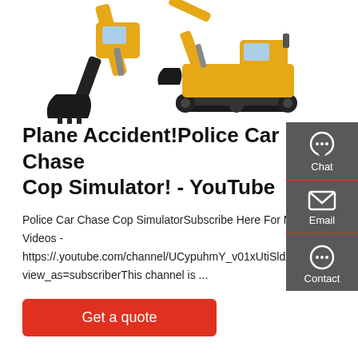[Figure (illustration): Two yellow construction excavators on white background]
Plane Accident!Police Car Chase Cop Simulator! - YouTube
Police Car Chase Cop SimulatorSubscribe Here For More Videos - https://.youtube.com/channel/UCypuhmY_v01xUtiSldzfgH view_as=subscriberThis channel is ...
[Figure (infographic): Right sidebar with Chat, Email, and Contact icons on dark grey background]
Get a quote